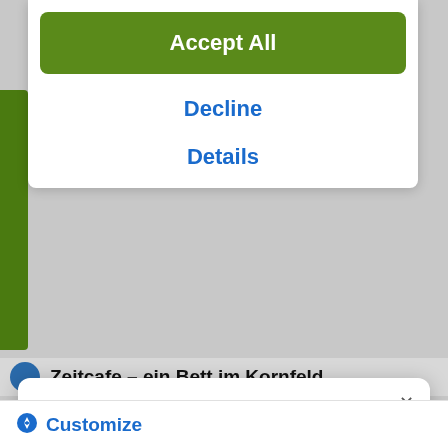Accept All
Decline
Details
Zeitcafe – ein Bett im Kornfeld
Get komoot, stay on track—however wild you go
With turn-by-turn voice navigation and offline maps, the komoot app will always keep your adventure on track, even when the internet's down or unreliable.
[Figure (other): Download on the App Store button]
Customize